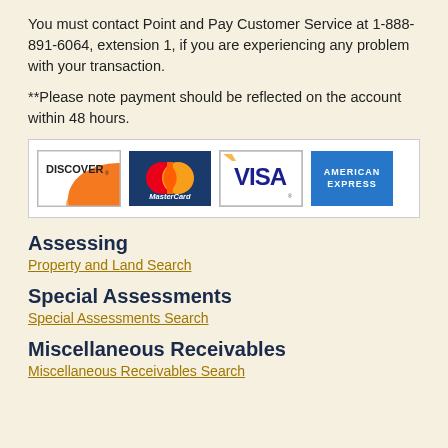You must contact Point and Pay Customer Service at 1-888-891-6064, extension 1, if you are experiencing any problem with your transaction.
**Please note payment should be reflected on the account within 48 hours.
[Figure (other): Credit card logos: Discover, MasterCard, Visa, American Express]
Assessing
Property and Land Search
Special Assessments
Special Assessments Search
Miscellaneous Receivables
Miscellaneous Receivables Search